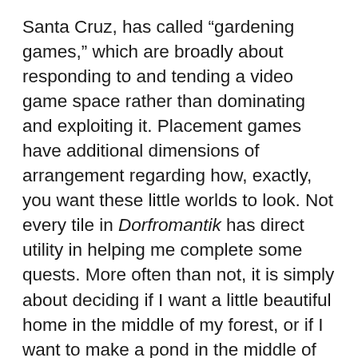Santa Cruz, has called “gardening games,” which are broadly about responding to and tending a video game space rather than dominating and exploiting it. Placement games have additional dimensions of arrangement regarding how, exactly, you want these little worlds to look. Not every tile in Dorfromantik has direct utility in helping me complete some quests. More often than not, it is simply about deciding if I want a little beautiful home in the middle of my forest, or if I want to make a pond in the middle of my micro-city.
“Many of us are feeling as if we’ve lost control, and these games give a little bit back”
I’ve been curious about why I find these